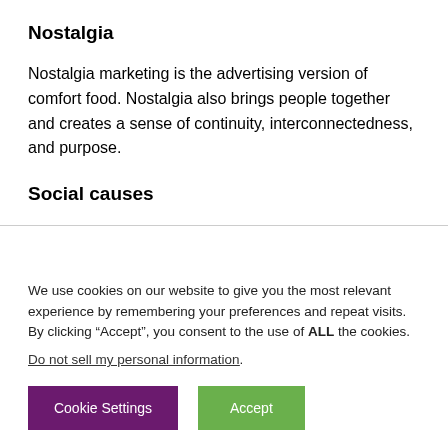Nostalgia
Nostalgia marketing is the advertising version of comfort food. Nostalgia also brings people together and creates a sense of continuity, interconnectedness, and purpose.
Social causes
We use cookies on our website to give you the most relevant experience by remembering your preferences and repeat visits. By clicking “Accept”, you consent to the use of ALL the cookies.
Do not sell my personal information.